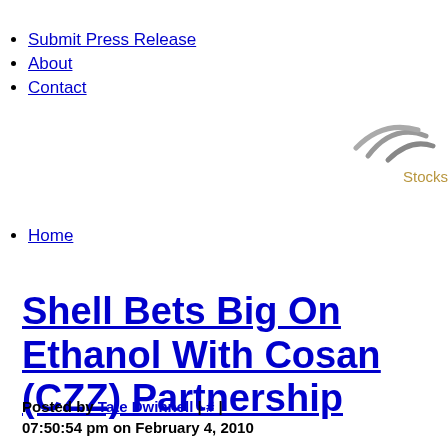Submit Press Release
About
Contact
[Figure (logo): Partial logo with arc/swoosh graphic above text 'Stocks' in gold/tan color]
Home
Shell Bets Big On Ethanol With Cosan (CZZ) Partnership
Posted by Tate Dwinnell | # | 07:50:54 pm on February 4, 2010
By Sara Harding of Guru Chi Stocks